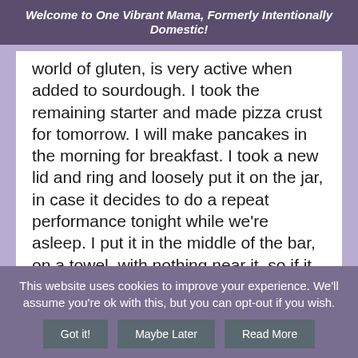Welcome to One Vibrant Mama, Formerly Intentionally Domestic!
world of gluten, is very active when added to sourdough.  I took the remaining starter and made pizza crust for tomorrow.  I will make pancakes in the morning for breakfast.  I took a new lid and ring and loosely put it on the jar, in case it decides to do a repeat performance tonight while we're asleep.  I put it in the middle of the bar, on a towel, with nothing near it, so if it overflows it won't make a mess.  I'll start the sourdough over after that, this time in a bigger container!
This website uses cookies to improve your experience. We'll assume you're ok with this, but you can opt-out if you wish.